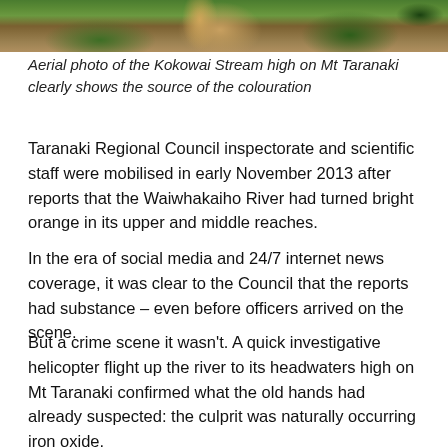[Figure (photo): Aerial photo of the Kokowai Stream high on Mt Taranaki showing orange/brown colouration from iron oxide against green vegetation]
Aerial photo of the Kokowai Stream high on Mt Taranaki clearly shows the source of the colouration
Taranaki Regional Council inspectorate and scientific staff were mobilised in early November 2013 after reports that the Waiwhakaiho River had turned bright orange in its upper and middle reaches.
In the era of social media and 24/7 internet news coverage, it was clear to the Council that the reports had substance – even before officers arrived on the scene.
But a crime scene it wasn't. A quick investigative helicopter flight up the river to its headwaters high on Mt Taranaki confirmed what the old hands had already suspected: the culprit was naturally occurring iron oxide.